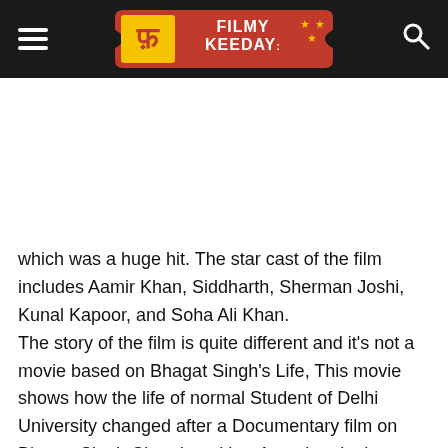Filmy Keeday
which was a huge hit. The star cast of the film includes Aamir Khan, Siddharth, Sherman Joshi, Kunal Kapoor, and Soha Ali Khan.
The story of the film is quite different and it's not a movie based on Bhagat Singh's Life, This movie shows how the life of normal Student of Delhi University changed after a Documentary film on Bhagat Singh Chandrasekhar Azaad and other Revolutionaries. Its a Must watch Film for Young Generation.